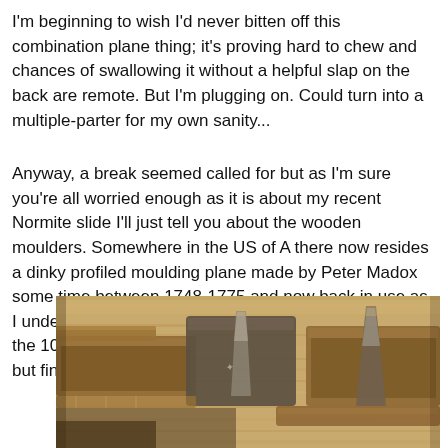I'm beginning to wish I'd never bitten off this combination plane thing; it's proving hard to chew and chances of swallowing it without a helpful slap on the back are remote. But I'm plugging on. Could turn into a multiple-parter for my own sanity...
Anyway, a break seemed called for but as I'm sure you're all worried enough as it is about my recent Normite slide I'll just tell you about the wooden moulders. Somewhere in the US of A there now resides a dinky profiled moulding plane made by Peter Madox some time between 1748-1775 and now back in use as I understand. Meanwhile somewhere in Cornwall are the 10 other moulders that came with it doing not a lot, but finally I got round to looking at them more closely.
[Figure (photo): Photograph of wooden moulding planes laid out on a wooden workbench surface, showing various hand planes and their components from an overhead angle.]